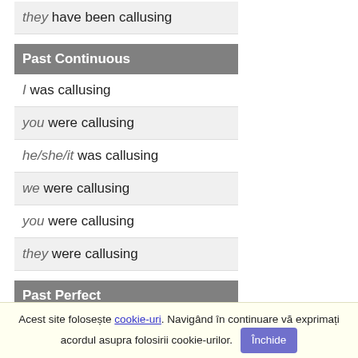they have been callusing
Past Continuous
I was callusing
you were callusing
he/she/it was callusing
we were callusing
you were callusing
they were callusing
Past Perfect
I had callused
you had callused
he/she/it had callused
Acest site folosește cookie-uri. Navigând în continuare vă exprimați acordul asupra folosirii cookie-urilor. Închide